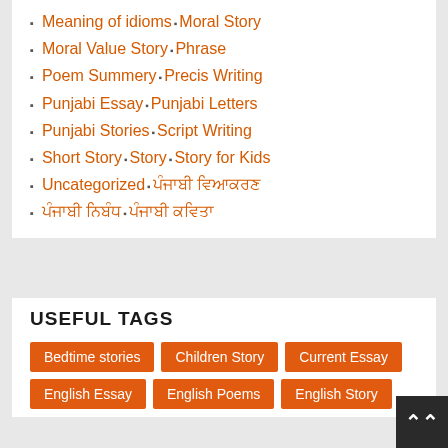Meaning of idioms  Moral Story
Moral Value Story  Phrase
Poem Summery  Precis Writing
Punjabi Essay  Punjabi Letters
Punjabi Stories  Script Writing
Short Story  Story  Story for Kids
Uncategorized  ਪੰਜਾਬੀ ਵਿਆਕਰਣ
ਪੰਜਾਬੀ ਨਿਬੰਧ  ਪੰਜਾਬੀ ਕਵਿਤਾ
USEFUL TAGS
Bedtime stories
Children Story
Current Essay
English Essay
English Poems
English Story